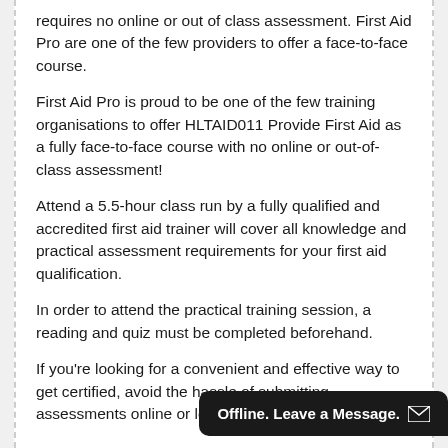requires no online or out of class assessment. First Aid Pro are one of the few providers to offer a face-to-face course.
First Aid Pro is proud to be one of the few training organisations to offer HLTAID011 Provide First Aid as a fully face-to-face course with no online or out-of-class assessment!
Attend a 5.5-hour class run by a fully qualified and accredited first aid trainer will cover all knowledge and practical assessment requirements for your first aid qualification.
In order to attend the practical training session, a reading and quiz must be completed beforehand.
If you're looking for a convenient and effective way to get certified, avoid the hassle of submitting assessments online or log
Offline. Leave a Message.